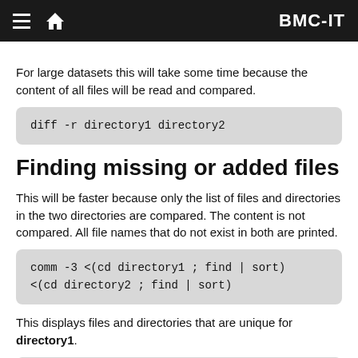BMC-IT
For large datasets this will take some time because the content of all files will be read and compared.
diff -r directory1 directory2
Finding missing or added files
This will be faster because only the list of files and directories in the two directories are compared. The content is not compared. All file names that do not exist in both are printed.
comm -3 <(cd directory1 ; find | sort)
<(cd directory2 ; find | sort)
This displays files and directories that are unique for directory1.
comm -23 <(cd directory1 ; find | sort)